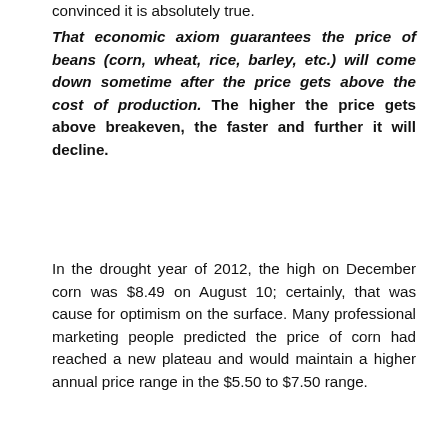convinced it is absolutely true.
That economic axiom guarantees the price of beans (corn, wheat, rice, barley, etc.) will come down sometime after the price gets above the cost of production. The higher the price gets above breakeven, the faster and further it will decline.
In the drought year of 2012, the high on December corn was $8.49 on August 10; certainly, that was cause for optimism on the surface. Many professional marketing people predicted the price of corn had reached a new plateau and would maintain a higher annual price range in the $5.50 to $7.50 range.